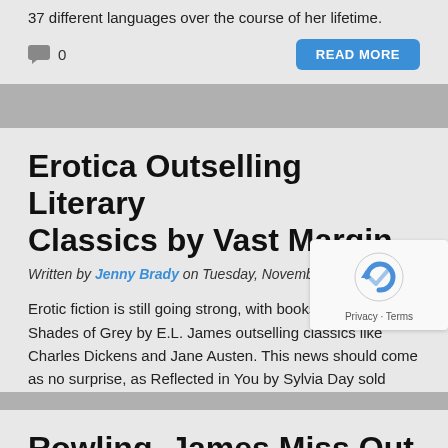37 different languages over the course of her lifetime.
0
Erotica Outselling Literary Classics by Vast Margin
Written by Jenny Brady on Tuesday, November 27th, 2012
Erotic fiction is still going strong, with books like Fifty Shades of Grey by E.L. James outselling classics like Charles Dickens and Jane Austen. This news should come as no surprise, as Reflected in You by Sylvia Day sold 100,000 copies in its first week on the shelves and Fifty Shades of Grey has sold [.
0
Rowling, James Miss Out On